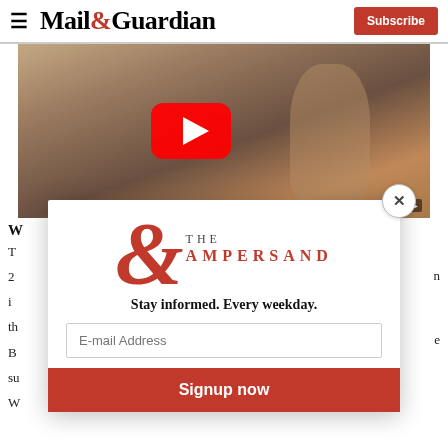Mail & Guardian | Subscribe
[Figure (screenshot): YouTube video thumbnail showing a person jumping in an urban street setting with graffiti, with a YouTube play button overlay]
W...
T... n 2... i... th... e B... su...
[Figure (screenshot): Modal popup for 'The Ampersand' newsletter subscription with email input and Signup now button]